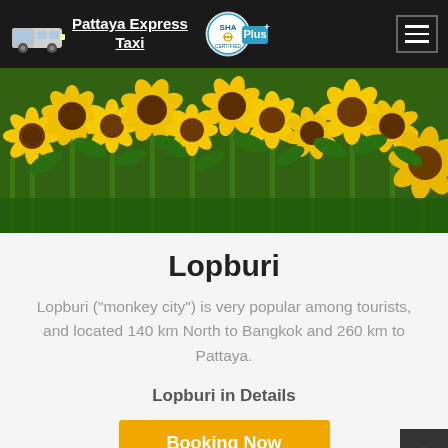Pattaya Express Taxi
[Figure (photo): A field of sunflowers in full bloom with green leaves and stems]
Lopburi
Lopburi ("monkey city") is very popular among tourists, and located 140 km North to Bangkok and 260 km to Pattaya.
Lopburi in Details
Booking Now